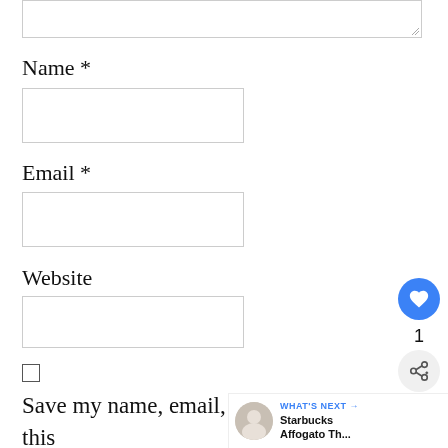(textarea top partial)
Name *
(Name input field)
Email *
(Email input field)
Website
(Website input field)
(checkbox)
Save my name, email, and website in this browser for the next time I comment.